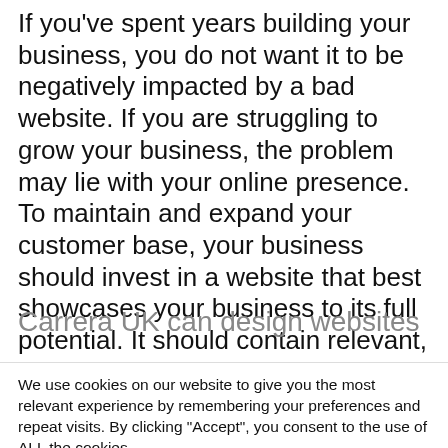If you've spent years building your business, you do not want it to be negatively impacted by a bad website. If you are struggling to grow your business, the problem may lie with your online presence. To maintain and expand your customer base, your business should invest in a website that best showcases your business to its full potential. It should contain relevant, engaging content, responsive on all screen sizes, and be easy for your customers to navigate.
Carrera UK can design websites
We use cookies on our website to give you the most relevant experience by remembering your preferences and repeat visits. By clicking "Accept", you consent to the use of ALL the cookies.
Cookie settings | ACCEPT | Read More